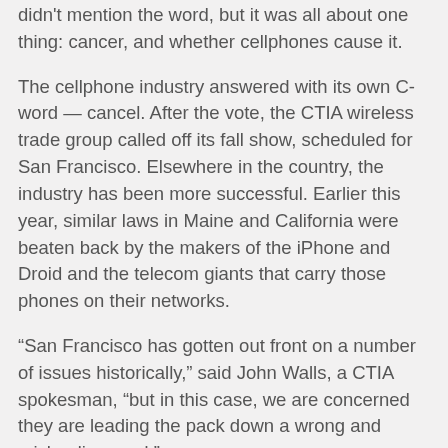didn't mention the word, but it was all about one thing: cancer, and whether cellphones cause it.
The cellphone industry answered with its own C-word — cancel. After the vote, the CTIA wireless trade group called off its fall show, scheduled for San Francisco. Elsewhere in the country, the industry has been more successful. Earlier this year, similar laws in Maine and California were beaten back by the makers of the iPhone and Droid and the telecom giants that carry those phones on their networks.
“San Francisco has gotten out front on a number of issues historically,” said John Walls, a CTIA spokesman, “but in this case, we are concerned they are leading the pack down a wrong and misleading road.”
Lacking conclusive evidence one way or the other, studies relating to cellphone safety are being hurled about frenetically as cellphones grow ever more powerful and pervasive: Americans have more than 285 million mobile phones at their ears, and the number in use globally reaches 4.5 billion.